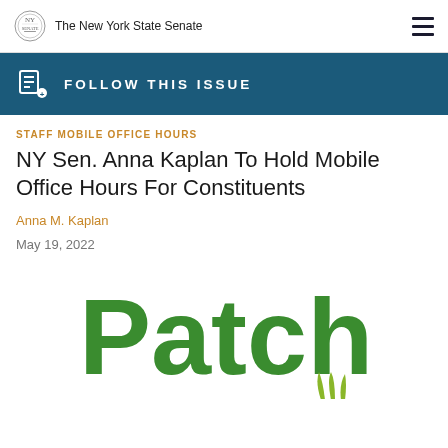The New York State Senate
FOLLOW THIS ISSUE
STAFF MOBILE OFFICE HOURS
NY Sen. Anna Kaplan To Hold Mobile Office Hours For Constituents
Anna M. Kaplan
May 19, 2022
[Figure (logo): Patch logo — green rounded lettering with grass motif beneath the 'h']